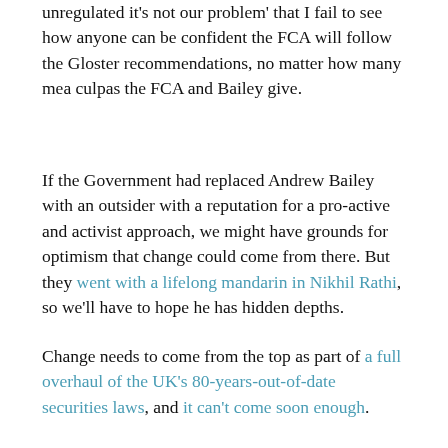unregulated it's not our problem' that I fail to see how anyone can be confident the FCA will follow the Gloster recommendations, no matter how many mea culpas the FCA and Bailey give.
If the Government had replaced Andrew Bailey with an outsider with a reputation for a pro-active and activist approach, we might have grounds for optimism that change could come from there. But they went with a lifelong mandarin in Nikhil Rathi, so we'll have to hope he has hidden depths.
Change needs to come from the top as part of a full overhaul of the UK's 80-years-out-of-date securities laws, and it can't come soon enough.